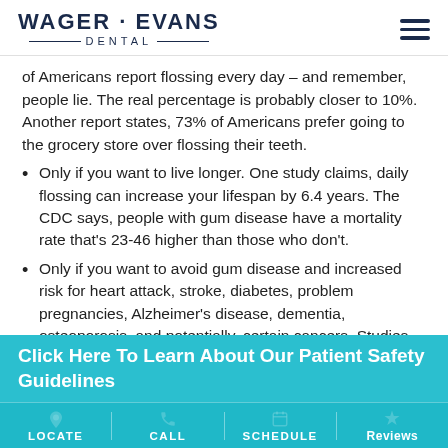WAGER · EVANS DENTAL
of Americans report flossing every day – and remember, people lie. The real percentage is probably closer to 10%. Another report states, 73% of Americans prefer going to the grocery store over flossing their teeth.
Only if you want to live longer. One study claims, daily flossing can increase your lifespan by 6.4 years. The CDC says, people with gum disease have a mortality rate that's 23-46 higher than those who don't.
Only if you want to avoid gum disease and increased risk for heart attack, stroke, diabetes, problem pregnancies, Alzheimer's disease, dementia, osteoporosis, and potentially, certain cancers. Studies link all of these
Click Here To Learn About Our Patient Safety Guidelines
LOCATE | CALL | SCHEDULE | Reviews